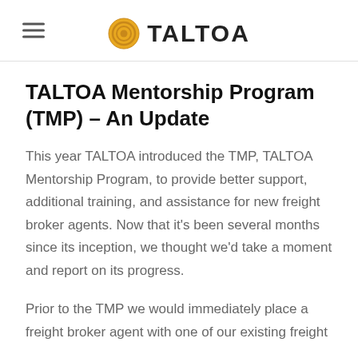TALTOA
TALTOA Mentorship Program (TMP) – An Update
This year TALTOA introduced the TMP, TALTOA Mentorship Program, to provide better support, additional training, and assistance for new freight broker agents. Now that it's been several months since its inception, we thought we'd take a moment and report on its progress.
Prior to the TMP we would immediately place a freight broker agent with one of our existing freight